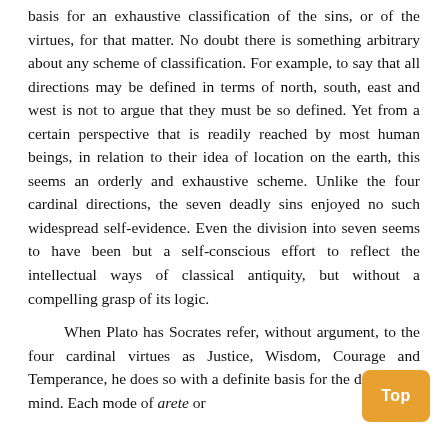basis for an exhaustive classification of the sins, or of the virtues, for that matter. No doubt there is something arbitrary about any scheme of classification. For example, to say that all directions may be defined in terms of north, south, east and west is not to argue that they must be so defined. Yet from a certain perspective that is readily reached by most human beings, in relation to their idea of location on the earth, this seems an orderly and exhaustive scheme. Unlike the four cardinal directions, the seven deadly sins enjoyed no such widespread self-evidence. Even the division into seven seems to have been but a self-conscious effort to reflect the intellectual ways of classical antiquity, but without a compelling grasp of its logic.
When Plato has Socrates refer, without argument, to the four cardinal virtues as Justice, Wisdom, Co[urage] and Temperance, he does so with a definite bas[is for] the division in mind. Each mode of arete or